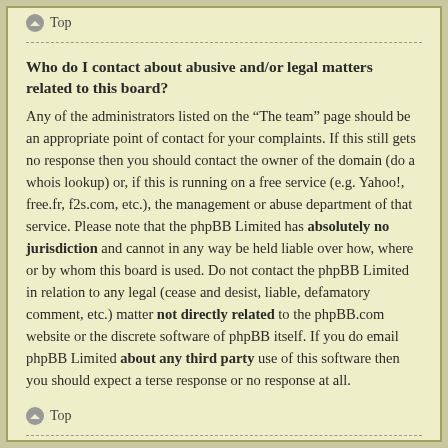Top
Who do I contact about abusive and/or legal matters related to this board?
Any of the administrators listed on the “The team” page should be an appropriate point of contact for your complaints. If this still gets no response then you should contact the owner of the domain (do a whois lookup) or, if this is running on a free service (e.g. Yahoo!, free.fr, f2s.com, etc.), the management or abuse department of that service. Please note that the phpBB Limited has absolutely no jurisdiction and cannot in any way be held liable over how, where or by whom this board is used. Do not contact the phpBB Limited in relation to any legal (cease and desist, liable, defamatory comment, etc.) matter not directly related to the phpBB.com website or the discrete software of phpBB itself. If you do email phpBB Limited about any third party use of this software then you should expect a terse response or no response at all.
Top
How do I contact a board administrator?
All users of the board can use the “Contact us” form, if the option was enabled by the board administrator.
Members of the board can also use the “The team” link.